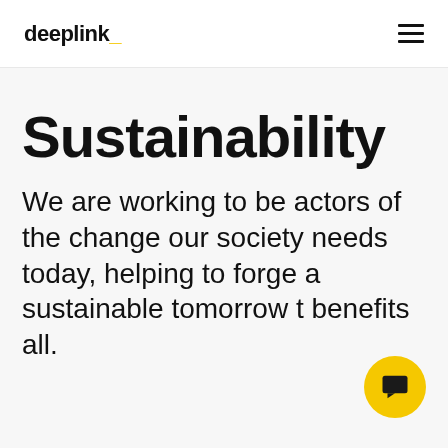deeplink_
Sustainability
We are working to be actors of the change our society needs today, helping to forge a sustainable tomorrow that benefits all.